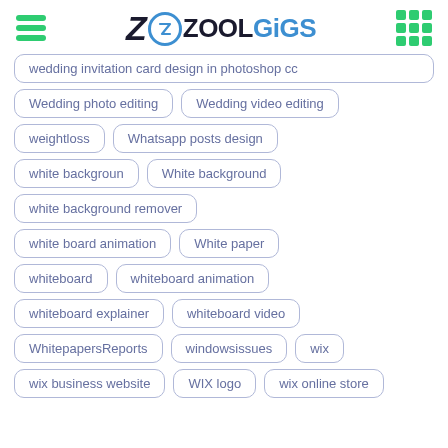ZOOLGIGS
wedding invitation card design in photoshop cc
Wedding photo editing
Wedding video editing
weightloss
Whatsapp posts design
white backgroun
White background
white background remover
white board animation
White paper
whiteboard
whiteboard animation
whiteboard explainer
whiteboard video
WhitepapersReports
windowsissues
wix
wix business website
WIX logo
wix online store